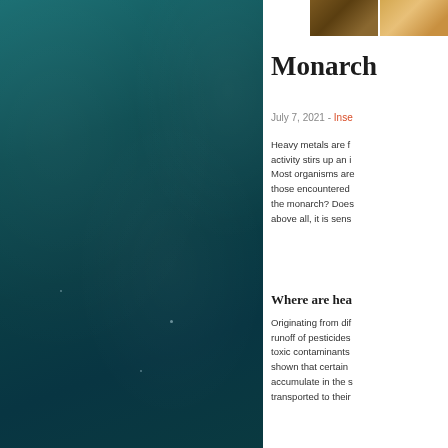[Figure (photo): Aerial view of teal/dark ocean water with subtle light reflections, left half of page]
[Figure (photo): Two small thumbnail images at top right: brownish natural scene and sandy/golden scene]
Monarch
July 7, 2021 - Inse
Heavy metals are f... activity stirs up an i... Most organisms are... those encountered... the monarch? Does... above all, it is sens...
Where are hea
Originating from dif... runoff of pesticides... toxic contaminants... shown that certain... accumulate in the s... transported to their...
[Figure (photo): Circular author avatar photo showing Alessandro Dieni, a bearded man outdoors]
ALESSANDRO DIENI
Alessandro Dieni is coordinator of the Mission Monarch project at the Institut de recherche en biologie végétale (IRBV), in collaboration with the Insectarium.